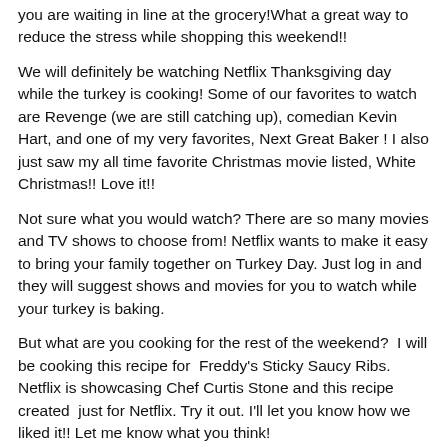you are waiting in line at the grocery!What a great way to reduce the stress while shopping this weekend!!
We will definitely be watching Netflix Thanksgiving day while the turkey is cooking! Some of our favorites to watch are Revenge (we are still catching up), comedian Kevin Hart, and one of my very favorites, Next Great Baker ! I also just saw my all time favorite Christmas movie listed, White Christmas!! Love it!!
Not sure what you would watch? There are so many movies and TV shows to choose from! Netflix wants to make it easy to bring your family together on Turkey Day. Just log in and they will suggest shows and movies for you to watch while your turkey is baking.
But what are you cooking for the rest of the weekend?  I will be cooking this recipe for  Freddy's Sticky Saucy Ribs.  Netflix is showcasing Chef Curtis Stone and this recipe created  just for Netflix. Try it out. I'll let you know how we liked it!! Let me know what you think!
So, this weekend when you are ready to unwind and just